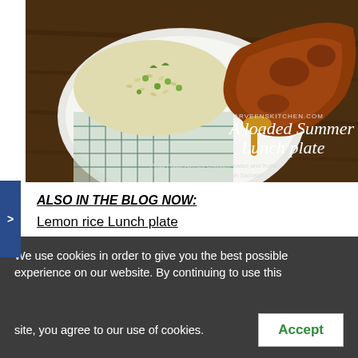[Figure (photo): A loaded summer lunch plate showing peas pulao rice, air-fried chicken drumstick, salad and fruits on a white plate with a checkered cloth, on a wooden surface. Text overlay reads 'parveenskitchen.com', 'A loaded Summer Lunch plate', 'Peas Pulao,Airfried Chicken, salad and fruits With Lemon Sarbath']
ALSO IN THE BLOG NOW:
Lemon rice Lunch plate
Wonder what they discuss
We use cookies in order to give you the best possible experience on our website. By continuing to use this site, you agree to our use of cookies.